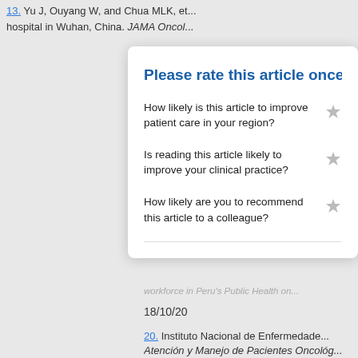13. Yu J, Ouyang W, and Chua MLK, et... hospital in Wuhan, China. JAMA Oncol...
Please rate this article once yo
How likely is this article to improve patient care in your region?
Is reading this article likely to improve your clinical practice?
How likely are you to recommend this article to a colleague?
workforce in Peru's Public Health on... 18/10/20
20. Instituto Nacional de Enfermedade...
Atención y Manejo de Pacientes Oncológ...